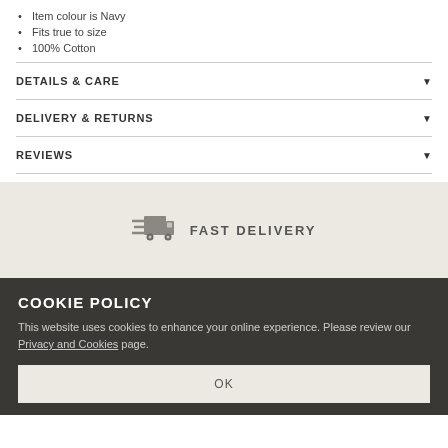Item colour is Navy
Fits true to size
100% Cotton
DETAILS & CARE
DELIVERY & RETURNS
REVIEWS
[Figure (illustration): Delivery truck icon with motion lines, grey color]
FAST DELIVERY
COOKIE POLICY
This website uses cookies to enhance your online experience. Please review our Privacy and Cookies page.
OK